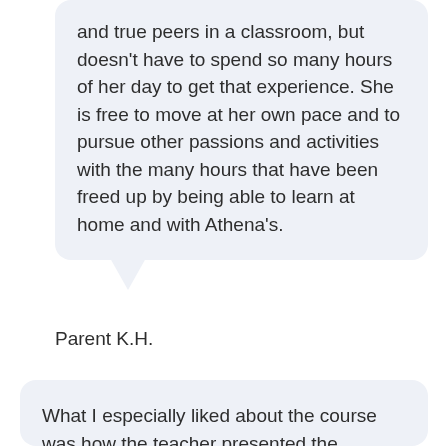and true peers in a classroom, but doesn't have to spend so many hours of her day to get that experience. She is free to move at her own pace and to pursue other passions and activities with the many hours that have been freed up by being able to learn at home and with Athena's.
Parent K.H.
What I especially liked about the course was how the teacher presented the information in the webinars. It was all very easy to understand. I also liked the activities and the friends.